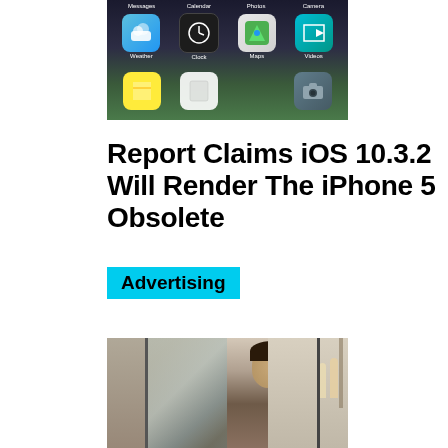[Figure (photo): Close-up photo of an iPhone home screen showing app icons including Weather, Clock, Maps, Videos, Messages, Calendar, Photos, Camera apps on a dark background]
Report Claims iOS 10.3.2 Will Render The iPhone 5 Obsolete
Advertising
[Figure (photo): Street scene photo showing a young man being interviewed outdoors near a glass storefront with a crowd of people in the background]